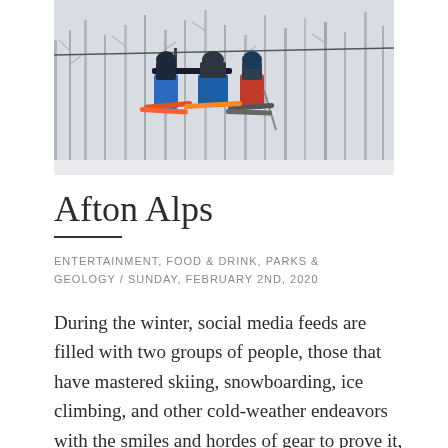[Figure (photo): Skiers on a ski lift, wearing blue and red ski pants with skis attached, against a backdrop of snow-covered bare trees in winter.]
Afton Alps
ENTERTAINMENT, FOOD & DRINK, PARKS & GEOLOGY / SUNDAY, FEBRUARY 2ND, 2020
During the winter, social media feeds are filled with two groups of people, those that have mastered skiing, snowboarding, ice climbing, and other cold-weather endeavors with the smiles and hordes of gear to prove it, and those that stay inside.